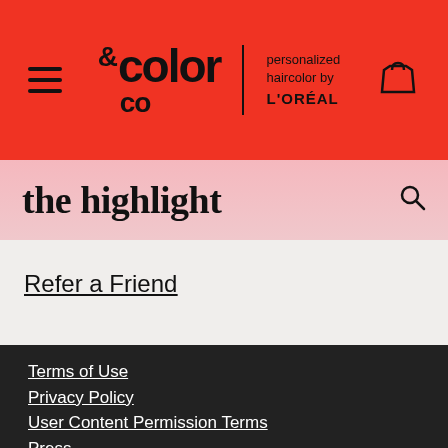& color co | personalized haircolor by L'OREAL
the highlight
Refer a Friend
Terms of Use
Privacy Policy
User Content Permission Terms
Press
Makeup.com